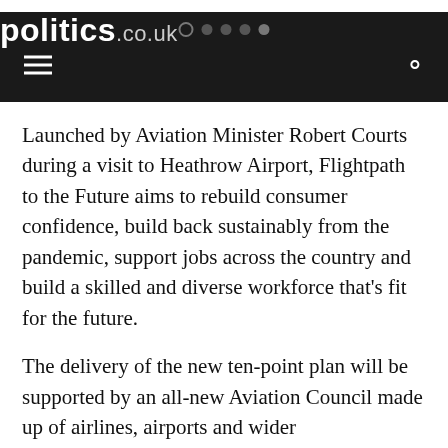politics.co.uk
Launched by Aviation Minister Robert Courts during a visit to Heathrow Airport, Flightpath to the Future aims to rebuild consumer confidence, build back sustainably from the pandemic, support jobs across the country and build a skilled and diverse workforce that’s fit for the future.
The delivery of the new ten-point plan will be supported by an all-new Aviation Council made up of airlines, airports and wider representatives from the aviation sector, as well as ministers and officials from both the UK government and